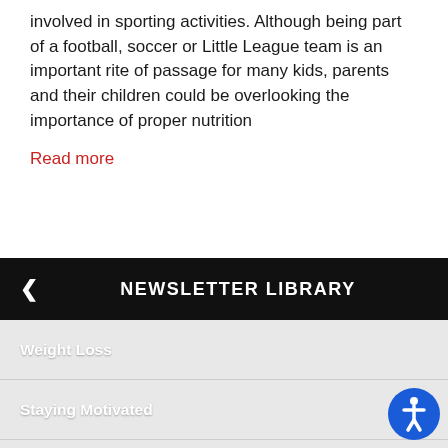involved in sporting activities. Although being part of a football, soccer or Little League team is an important rite of passage for many kids, parents and their children could be overlooking the importance of proper nutrition
Read more
NEWSLETTER LIBRARY
Weight Loss
Staying Motivated
Staying Young
Life-Work Balance